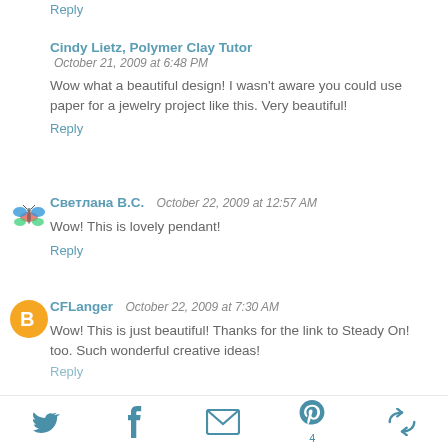Reply
Cindy Lietz, Polymer Clay Tutor
October 21, 2009 at 6:48 PM
Wow what a beautiful design! I wasn't aware you could use paper for a jewelry project like this. Very beautiful!
Reply
[Figure (illustration): Small colorful butterfly avatar image]
Светлана В.С.
October 22, 2009 at 12:57 AM
Wow! This is lovely pendant!
Reply
[Figure (illustration): Orange Blogger circle avatar icon with 'B' logo]
CFLanger
October 22, 2009 at 7:30 AM
Wow! This is just beautiful! Thanks for the link to Steady On! too. Such wonderful creative ideas!
Reply
Twitter | Facebook | Email | Pinterest (4) | Share